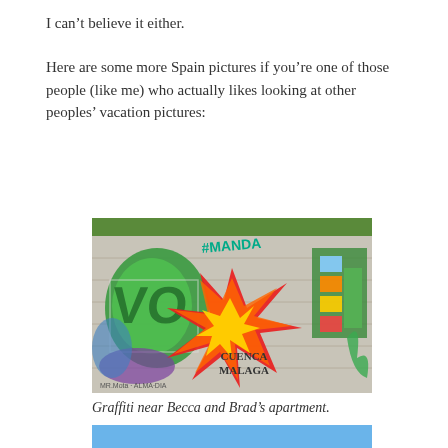I can’t believe it either.
Here are some more Spain pictures if you’re one of those people (like me) who actually likes looking at other peoples’ vacation pictures:
[Figure (photo): Graffiti mural on a brick/concrete wall with colorful spray-painted tags, a large red star burst shape in the center, green graffiti letters on the left, geometric shapes on the right, and text reading CUENCA MALAGA at the bottom.]
Graffiti near Becca and Brad’s apartment.
[Figure (photo): Partial photo showing a blue sky.]